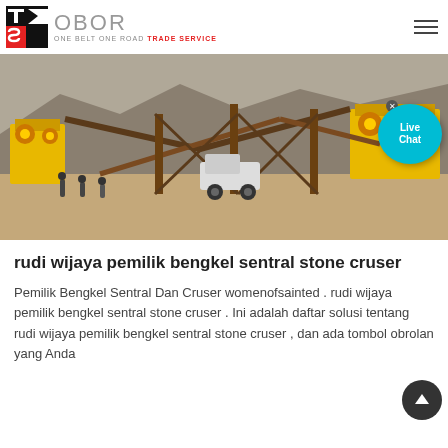[Figure (logo): TS OBOR logo — red and black TS icon on left, 'OBOR' in gray letters, tagline 'ONE BELT ONE ROAD TRADE SERVICE' below]
[Figure (photo): Construction/mining site with yellow heavy machinery, conveyors, scaffolding, trucks, workers — outdoor stone crusher facility]
rudi wijaya pemilik bengkel sentral stone cruser
Pemilik Bengkel Sentral Dan Cruser womenofsainted . rudi wijaya pemilik bengkel sentral stone cruser . Ini adalah daftar solusi tentang rudi wijaya pemilik bengkel sentral stone cruser , dan ada tombol obrolan yang Anda